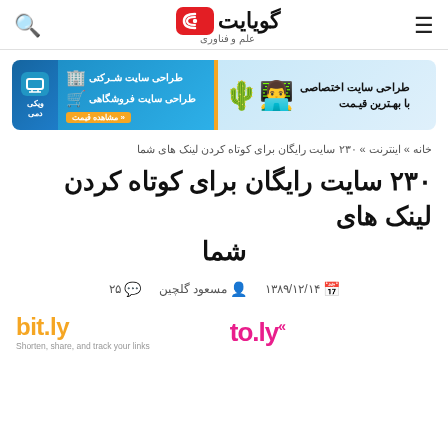گویا‌یت — علم و فناوری
[Figure (infographic): Advertisement banner for website design services]
خانه » اینترنت » ۲۳۰ سایت رایگان برای کوتاه کردن لینک های شما
۲۳۰ سایت رایگان برای کوتاه کردن لینک های شما
۱۳۸۹/۱۲/۱۴  مسعود گلچین  ۲۵
[Figure (logo): bit.ly logo with tagline: Shorten, share, and track your links]
[Figure (logo): to.ly logo in pink/magenta color]